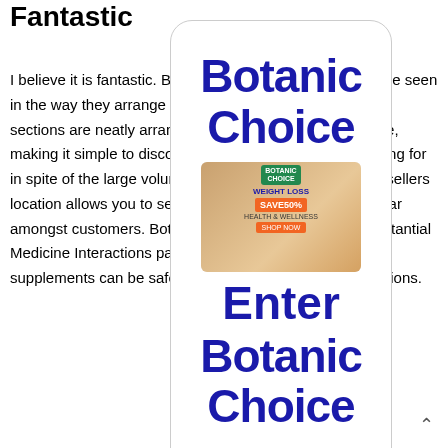Fantastic
I believe it is fantastic. Botanic Choice's quality can also be seen in the way they arrange and deliver their site content. All sections are neatly arranged according to the health issue, making it simple to discover the supplements you're looking for in spite of the large volume of offered products. The Bestsellers location allows you to see which products are most popular amongst customers. Botanic Choice likewise uses a substantial Medicine Interactions page to assist you figure out which supplements can be safely utilized in numerous combinations.
[Figure (screenshot): Botanic Choice popup overlay card with large blue text 'Botanic Choice', a weight loss advertisement image with 'SAVE 50%' and 'SHOP NOW', and 'Enter Botanic Choice' text below.]